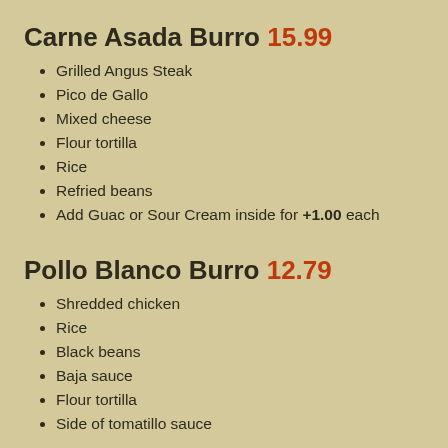Carne Asada Burro 15.99
Grilled Angus Steak
Pico de Gallo
Mixed cheese
Flour tortilla
Rice
Refried beans
Add Guac or Sour Cream inside for +1.00 each
Pollo Blanco Burro 12.79
Shredded chicken
Rice
Black beans
Baja sauce
Flour tortilla
Side of tomatillo sauce